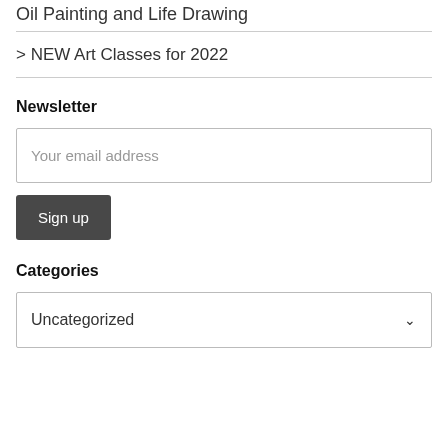Oil Painting and Life Drawing
> NEW Art Classes for 2022
Newsletter
Your email address
Sign up
Categories
Uncategorized